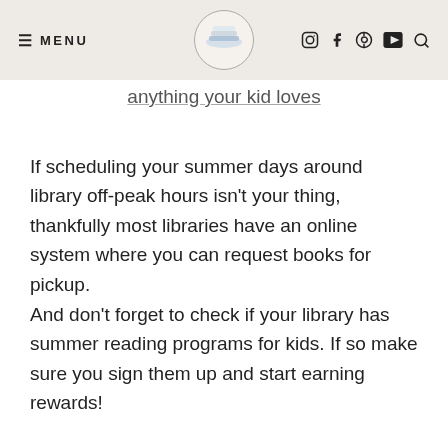≡ MENU [logo] ⊙ f ⊕ ▶ 🔍
anything your kid loves
If scheduling your summer days around library off-peak hours isn't your thing, thankfully most libraries have an online system where you can request books for pickup.
And don't forget to check if your library has summer reading programs for kids. If so make sure you sign them up and start earning rewards!